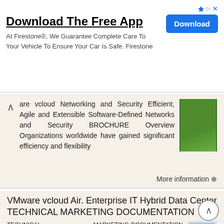[Figure (screenshot): Advertisement banner: Download The Free App from Firestone with a blue Download button]
Download The Free App
At Firestone®, We Guarantee Complete Care To Your Vehicle To Ensure Your Car Is Safe. Firestone
are vcloud Networking and Security Efficient, Agile and Extensible Software-Defined Networks and Security BROCHURE Overview Organizations worldwide have gained significant efficiency and flexibility
More information →
VMware vcloud Air. Enterprise IT Hybrid Data Center TECHNICAL MARKETING DOCUMENTATION
TECHNICAL MARKETING DOCUMENTATION October 2014 Table of Contents Purpose and Overview.... 3 1.1 Background............................................................ 3 1.2 Target Audience......................................................